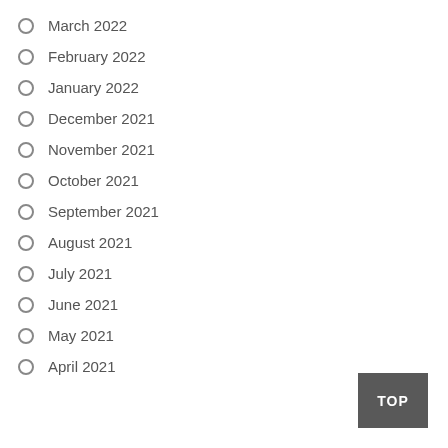March 2022
February 2022
January 2022
December 2021
November 2021
October 2021
September 2021
August 2021
July 2021
June 2021
May 2021
April 2021